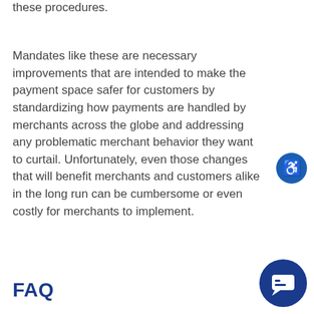these procedures.
Mandates like these are necessary improvements that are intended to make the payment space safer for customers by standardizing how payments are handled by merchants across the globe and addressing any problematic merchant behavior they want to curtail. Unfortunately, even those changes that will benefit merchants and customers alike in the long run can be cumbersome or even costly for merchants to implement.
FAQ